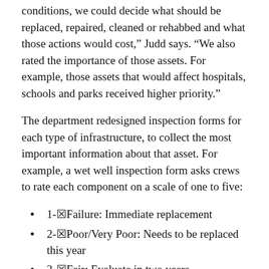conditions, we could decide what should be replaced, repaired, cleaned or rehabbed and what those actions would cost,” Judd says. “We also rated the importance of those assets. For example, those assets that would affect hospitals, schools and parks received higher priority.”
The department redesigned inspection forms for each type of infrastructure, to collect the most important information about that asset. For example, a wet well inspection form asks crews to rate each component on a scale of one to five:
1-☒Failure: Immediate replacement
2-☒Poor/Very Poor: Needs to be replaced this year
3-☒Fair: Evaluate in two years
4-☒Good: Evaluate in five years
5-☒Excellent: Evaluate in 10 years